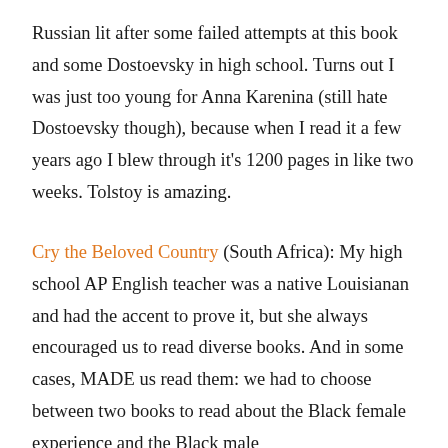Russian lit after some failed attempts at this book and some Dostoevsky in high school. Turns out I was just too young for Anna Karenina (still hate Dostoevsky though), because when I read it a few years ago I blew through it's 1200 pages in like two weeks. Tolstoy is amazing.
Cry the Beloved Country (South Africa): My high school AP English teacher was a native Louisianan and had the accent to prove it, but she always encouraged us to read diverse books. And in some cases, MADE us read them: we had to choose between two books to read about the Black female experience and the Black male